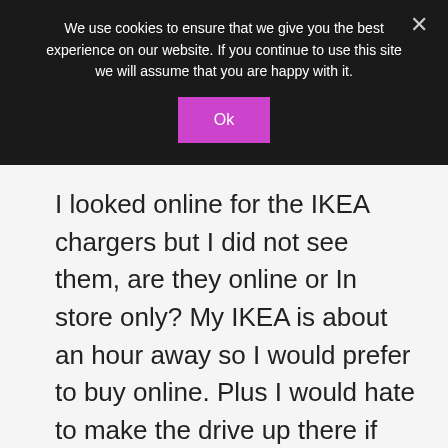We use cookies to ensure that we give you the best experience on our website. If you continue to use this site we will assume that you are happy with it.
Ok
I looked online for the IKEA chargers but I did not see them, are they online or In store only? My IKEA is about an hour away so I would prefer to buy online. Plus I would hate to make the drive up there if they no longer sell them. Any info or links would be greatly appreciated. Thank you